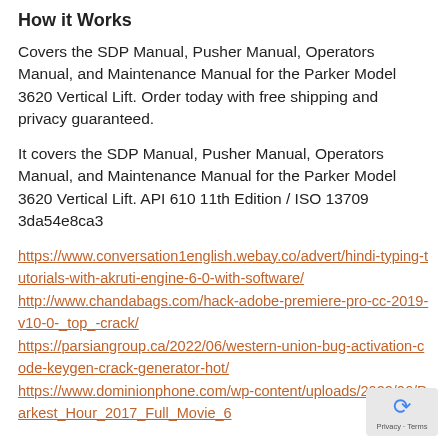How it Works
Covers the SDP Manual, Pusher Manual, Operators Manual, and Maintenance Manual for the Parker Model 3620 Vertical Lift. Order today with free shipping and privacy guaranteed.
It covers the SDP Manual, Pusher Manual, Operators Manual, and Maintenance Manual for the Parker Model 3620 Vertical Lift. API 610 11th Edition / ISO 13709
3da54e8ca3
https://www.conversation1english.webay.co/advert/hindi-typing-tutorials-with-akruti-engine-6-0-with-software/
http://www.chandabags.com/hack-adobe-premiere-pro-cc-2019-v10-0-_top_-crack/
https://parsiangroup.ca/2022/06/western-union-bug-activation-code-keygen-crack-generator-hot/
https://www.dominionphone.com/wp-content/uploads/2022/06/Darkest_Hour_2017_Full_Movie_6